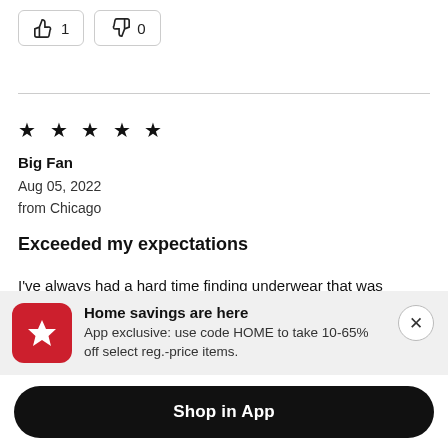[Figure (other): Thumbs up button with count 1 and thumbs down button with count 0]
★ ★ ★ ★ ★
Big Fan
Aug 05, 2022
from Chicago
Exceeded my expectations
I've always had a hard time finding underwear that was comfortable, stayed in place, and did not create lumps and bumps and pantylines. A friend recommended these to me and
Home savings are here
App exclusive: use code HOME to take 10-65% off select reg.-price items.
Shop in App